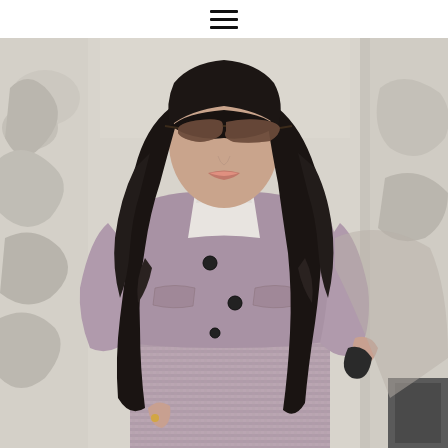≡ (hamburger menu icon)
[Figure (photo): A woman with long dark wavy hair wearing large sunglasses and a pink/mauve tweed double-breasted jacket and matching skirt, posed against an ornate white stone architectural column outdoors in bright sunlight.]